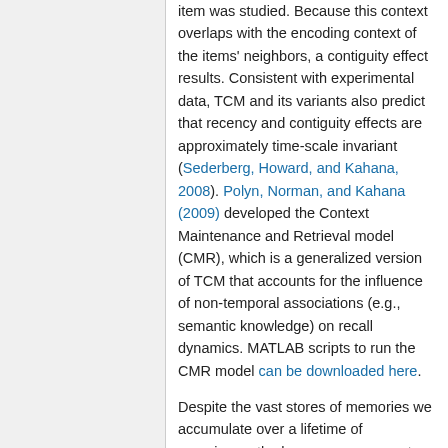item was studied. Because this context overlaps with the encoding context of the items' neighbors, a contiguity effect results. Consistent with experimental data, TCM and its variants also predict that recency and contiguity effects are approximately time-scale invariant (Sederberg, Howard, and Kahana, 2008). Polyn, Norman, and Kahana (2009) developed the Context Maintenance and Retrieval model (CMR), which is a generalized version of TCM that accounts for the influence of non-temporal associations (e.g., semantic knowledge) on recall dynamics. MATLAB scripts to run the CMR model can be downloaded here.
Despite the vast stores of memories we accumulate over a lifetime of experience, the human memory system is often able